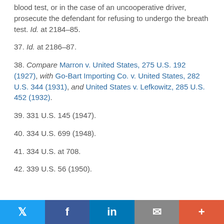blood test, or in the case of an uncooperative driver, prosecute the defendant for refusing to undergo the breath test. Id. at 2184–85.
37. Id. at 2186–87.
38. Compare Marron v. United States, 275 U.S. 192 (1927), with Go-Bart Importing Co. v. United States, 282 U.S. 344 (1931), and United States v. Lefkowitz, 285 U.S. 452 (1932).
39. 331 U.S. 145 (1947).
40. 334 U.S. 699 (1948).
41. 334 U.S. at 708.
42. 339 U.S. 56 (1950).